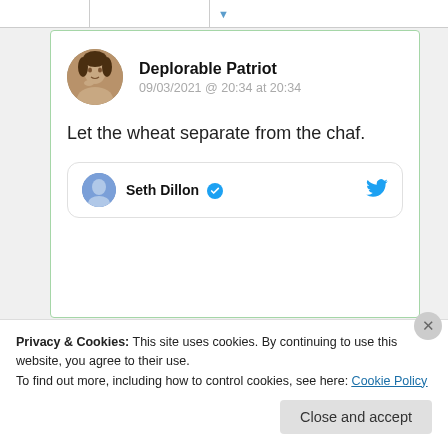Deplorable Patriot
09/03/2021 @ 20:34 at 20:34
Let the wheat separate from the chaf.
Seth Dillon
Privacy & Cookies: This site uses cookies. By continuing to use this website, you agree to their use.
To find out more, including how to control cookies, see here: Cookie Policy
Close and accept